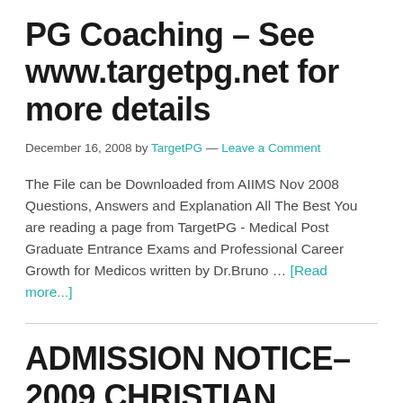PG Coaching – See www.targetpg.net for more details
December 16, 2008 by TargetPG — Leave a Comment
The File can be Downloaded from AIIMS Nov 2008 Questions, Answers and Explanation All The Best You are reading a page from TargetPG - Medical Post Graduate Entrance Exams and Professional Career Growth for Medicos written by Dr.Bruno … [Read more...]
ADMISSION NOTICE- 2009 CHRISTIAN